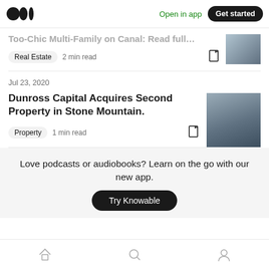Medium logo | Open in app | Get started
Too-Chic Multi-Family on Canal... Real Estate 2 min read
Jul 23, 2020
Dunross Capital Acquires Second Property in Stone Mountain.
Property  1 min read
Love podcasts or audiobooks? Learn on the go with our new app.
Try Knowable
Home | Search | Profile